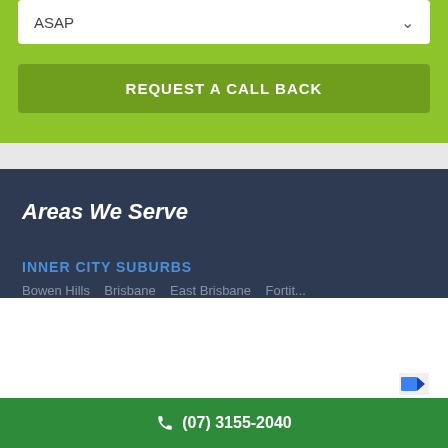ASAP
REQUEST A CALL BACK
Areas We Serve
INNER CITY SUBURBS
Bowen Hills  Brisbane  East Brisbane  Fortit...
(07) 3155-2040